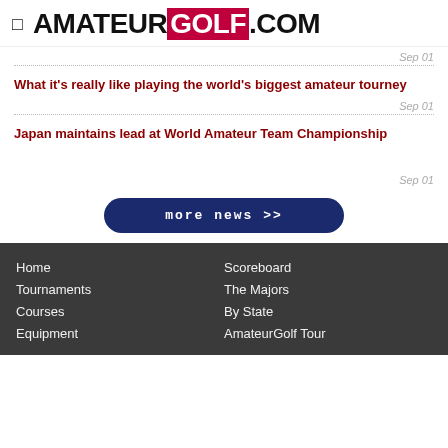AMATEUR GOLF .COM
Sep 01
What it's really like playing the world's biggest amateur tourney
Sep 01
Japan maintains lead at World Amateur Team Championship
Sep 01
more news >>
Home  Tournaments  Courses  Equipment  Scoreboard  The Majors  By State  AmateurGolf Tour